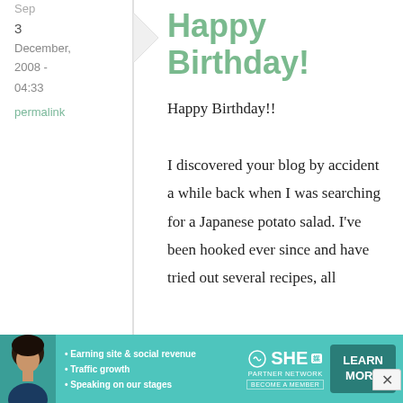Sep
3
December, 2008 - 04:33
permalink
Happy Birthday!
Happy Birthday!!

I discovered your blog by accident a while back when I was searching for a Japanese potato salad. I've been hooked ever since and have tried out several recipes, all
[Figure (infographic): Advertisement banner for SHE Partner Network with a woman photo, bullet points about earning site & social revenue, traffic growth, speaking on our stages, SHE logo, and LEARN MORE button]